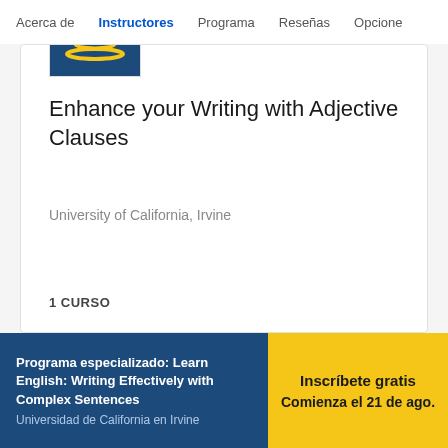Acerca de | Instructores | Programa | Reseñas | Opcione
[Figure (logo): University of California, Irvine logo — blue background with yellow/gold arc design]
Enhance your Writing with Adjective Clauses
University of California, Irvine
1 CURSO
Programa especializado: Learn English: Writing Effectively with Complex Sentences
Universidad de California en Irvine
Inscríbete gratis
Comienza el 21 de ago.